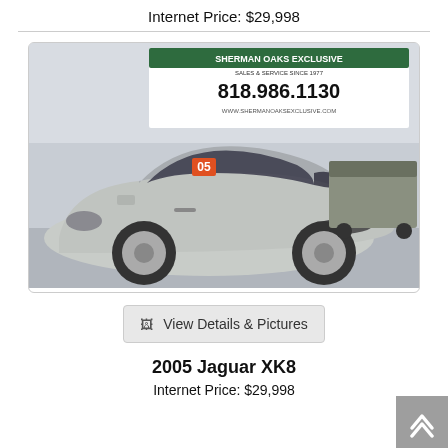Internet Price: $29,998
[Figure (photo): Silver 2005 Jaguar XK8 coupe parked in front of Sherman Oaks Exclusive auto dealer sign showing phone number 818.986.1130]
View Details & Pictures
2005 Jaguar XK8
Internet Price: $29,998